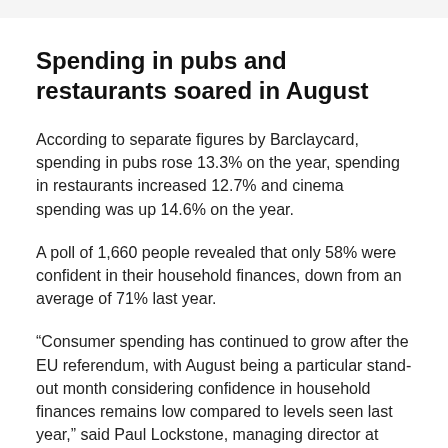Spending in pubs and restaurants soared in August
According to separate figures by Barclaycard, spending in pubs rose 13.3% on the year, spending in restaurants increased 12.7% and cinema spending was up 14.6% on the year.
A poll of 1,660 people revealed that only 58% were confident in their household finances, down from an average of 71% last year.
“Consumer spending has continued to grow after the EU referendum, with August being a particular stand-out month considering confidence in household finances remains low compared to levels seen last year,” said Paul Lockstone, managing director at Barclaycard.